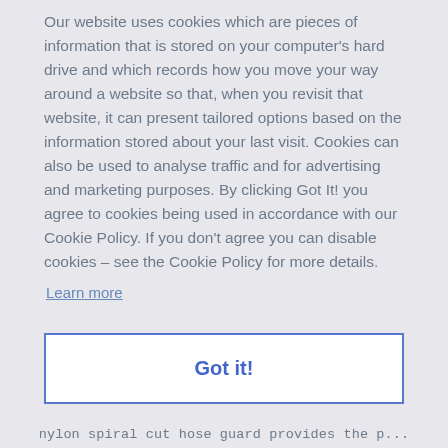Our website uses cookies which are pieces of information that is stored on your computer's hard drive and which records how you move your way around a website so that, when you revisit that website, it can present tailored options based on the information stored about your last visit. Cookies can also be used to analyse traffic and for advertising and marketing purposes. By clicking Got It! you agree to cookies being used in accordance with our Cookie Policy. If you don't agree you can disable cookies – see the Cookie Policy for more details.
Learn more
Got it!
nylon spiral cut hose guard provides the p...